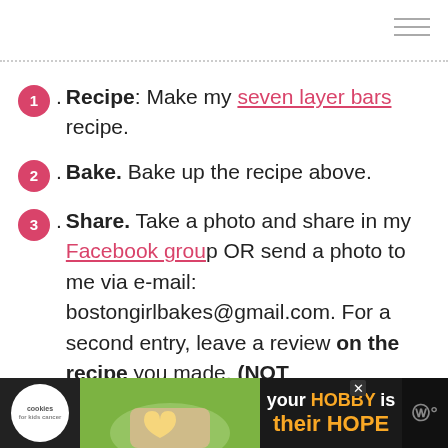Recipe: Make my seven layer bars recipe.
Bake. Bake up the recipe above.
Share. Take a photo and share in my Facebook group OR send a photo to me via e-mail: bostongirlbakes@gmail.com. For a second entry, leave a review on the recipe you made. (NOT
[Figure (photo): Advertisement banner at bottom: cookies for kids cancer charity ad with 'your HOBBY is their HOPE' text]